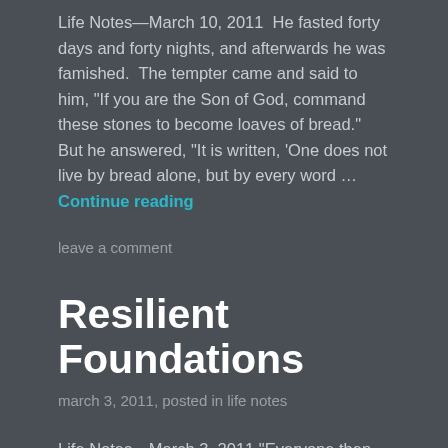Life Notes—March 10, 2011  He fasted forty days and forty nights, and afterwards he was famished.  The tempter came and said to him, “If you are the Son of God, command these stones to become loaves of bread.”  But he answered, “It is written, ‘One does not live by bread alone, but by every word … Continue reading
leave a comment
Resilient Foundations
march 3, 2011, posted in life notes
Life Notes—March 3, 2011 “Everyone then who hears these words of mine and acts on them will be like a wise man who built his house on rock.  The rain fell, the